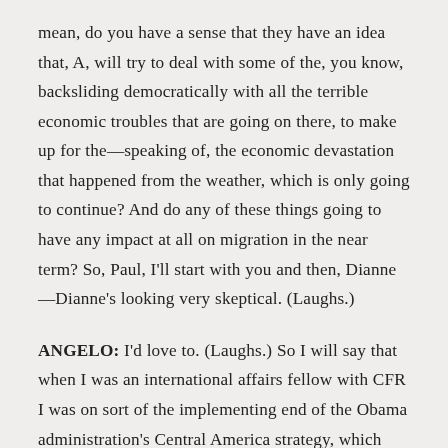mean, do you have a sense that they have an idea that, A, will try to deal with some of the, you know, backsliding democratically with all the terrible economic troubles that are going on there, to make up for the—speaking of, the economic devastation that happened from the weather, which is only going to continue? And do any of these things going to have any impact at all on migration in the near term? So, Paul, I'll start with you and then, Dianne—Dianne's looking very skeptical. (Laughs.)
ANGELO: I'd love to. (Laughs.) So I will say that when I was an international affairs fellow with CFR I was on sort of the implementing end of the Obama administration's Central America strategy, which was being shepherded by then-Vice President Joe Biden